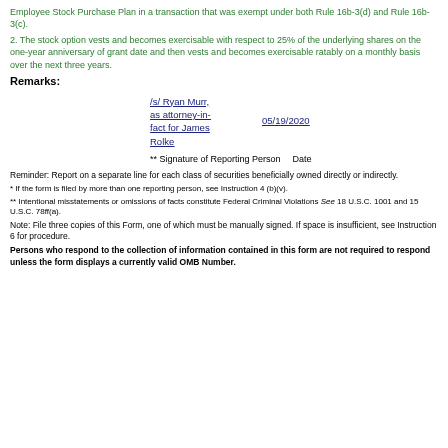Employee Stock Purchase Plan in a transaction that was exempt under both Rule 16b-3(d) and Rule 16b-3(c).
2. The stock option vests and becomes exercisable with respect to 25% of the underlying shares on the one-year anniversary of grant date and then vests and becomes exercisable ratably on a monthly basis over the next three years.
Remarks:
/s/ Ryan Murr, as attorney-in-fact for James Rolke
05/19/2020
** Signature of Reporting Person    Date
Reminder: Report on a separate line for each class of securities beneficially owned directly or indirectly.
* If the form is filed by more than one reporting person, see Instruction 4 (b)(v).
** Intentional misstatements or omissions of facts constitute Federal Criminal Violations See 18 U.S.C. 1001 and 15 U.S.C. 78ff(a).
Note: File three copies of this Form, one of which must be manually signed. If space is insufficient, see Instruction 6 for procedure.
Persons who respond to the collection of information contained in this form are not required to respond unless the form displays a currently valid OMB Number.